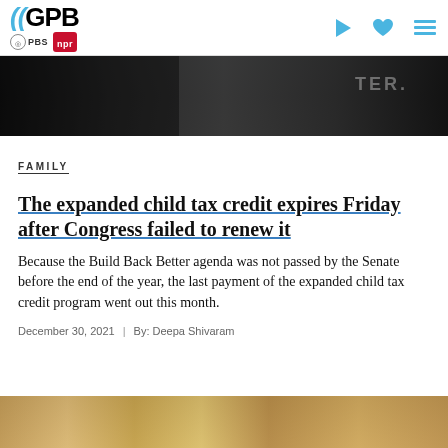GPB | PBS | NPR
[Figure (photo): Dark background image showing a street scene or newsroom, partially cropped at top]
FAMILY
The expanded child tax credit expires Friday after Congress failed to renew it
Because the Build Back Better agenda was not passed by the Senate before the end of the year, the last payment of the expanded child tax credit program went out this month.
December 30, 2021  |  By: Deepa Shivaram
[Figure (photo): Bottom cropped image showing what appears to be currency or financial documents with golden/yellow tones]